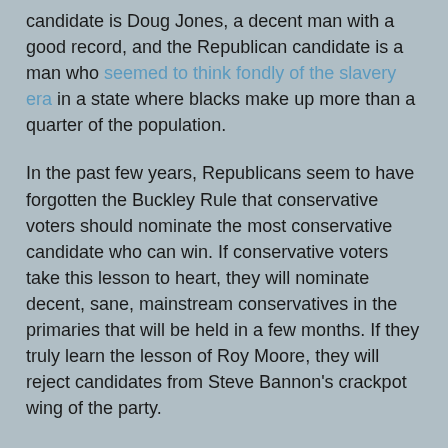candidate is Doug Jones, a decent man with a good record, and the Republican candidate is a man who seemed to think fondly of the slavery era in a state where blacks make up more than a quarter of the population.
In the past few years, Republicans seem to have forgotten the Buckley Rule that conservative voters should nominate the most conservative candidate who can win. If conservative voters take this lesson to heart, they will nominate decent, sane, mainstream conservatives in the primaries that will be held in a few months. If they truly learn the lesson of Roy Moore, they will reject candidates from Steve Bannon's crackpot wing of the party.
Roy Moore's loss may have come at just the right time for the party. Many signs are pointing to a Democrat wave in 2018. It may already be too late to stop the Democrat landslide, but if Republicans look for candidates that appeal to voters outside the anti-establishment wing of the GOP they may be able to prevent a total wipeout and at least maintain control of the Senate.